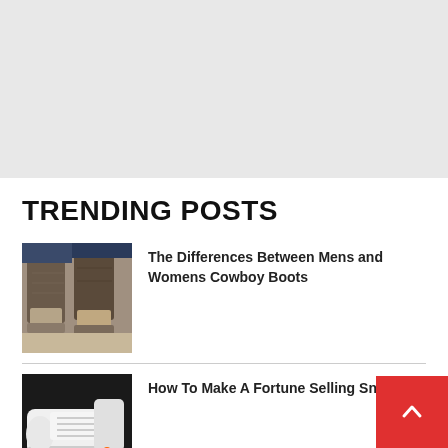TRENDING POSTS
[Figure (photo): Photo of cowboy boots worn by two people, showing denim jeans and tan/beige cowboy boots on a light floor]
The Differences Between Mens and Womens Cowboy Boots
[Figure (photo): Photo of white and orange sneakers (Off-White style) on a dark background]
How To Make A Fortune Selling Sneakers